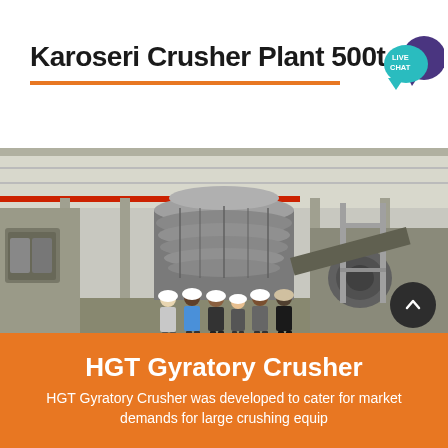Karoseri Crusher Plant 500t
[Figure (logo): Live Chat speech bubble icon in teal and purple]
[Figure (photo): Industrial factory interior showing a large HGT Gyratory Crusher machine with six workers in hard hats standing in front of it]
HGT Gyratory Crusher
HGT Gyratory Crusher was developed to cater for market demands for large crushing equip